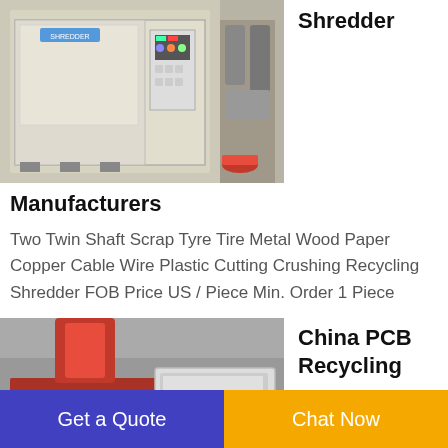[Figure (photo): Industrial shredder machine — large beige/gray machine with control panel in a factory setting]
Shredder
Manufacturers
Two Twin Shaft Scrap Tyre Tire Metal Wood Paper Copper Cable Wire Plastic Cutting Crushing Recycling Shredder FOB Price US / Piece Min. Order 1 Piece
[Figure (photo): Red and white PCB recycling machine in an industrial factory setting with a worker visible]
China PCB Recycling
Automotive Rubber Recycling Cable...